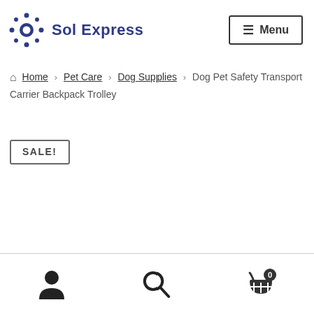Sol Express — Menu
Home › Pet Care › Dog Supplies › Dog Pet Safety Transport Carrier Backpack Trolley
SALE!
User icon, Search icon, Cart (0)